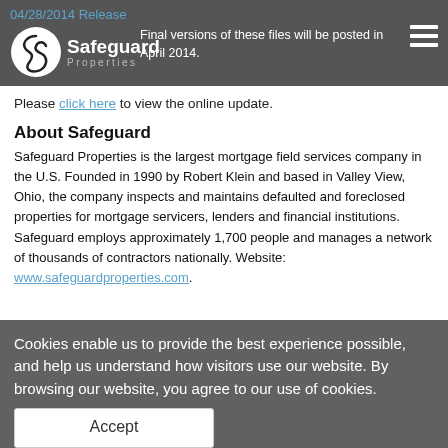04/28/2014 Release
[Figure (logo): Safeguard Properties logo with S-shaped swoosh icon and text 'Safeguard Properties']
Final versions of these files will be posted in April 2014.
Please click here to view the online update.
About Safeguard
Safeguard Properties is the largest mortgage field services company in the U.S. Founded in 1990 by Robert Klein and based in Valley View, Ohio, the company inspects and maintains defaulted and foreclosed properties for mortgage servicers, lenders and financial institutions. Safeguard employs approximately 1,700 people and manages a network of thousands of contractors nationally. Website: www.safeguardproperties.com.
Cookies enable us to provide the best experience possible, and help us understand how visitors use our website. By browsing our website, you agree to our use of cookies.
Accept